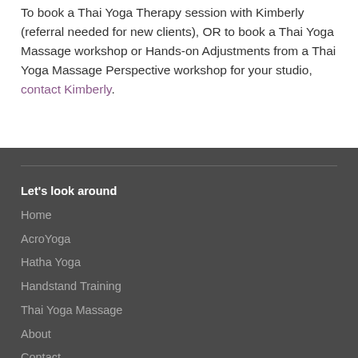To book a Thai Yoga Therapy session with Kimberly (referral needed for new clients), OR to book a Thai Yoga Massage workshop or Hands-on Adjustments from a Thai Yoga Massage Perspective workshop for your studio, contact Kimberly.
Let's look around
Home
AcroYoga
Hatha Yoga
Handstand Training
Thai Yoga Massage
About
Contact